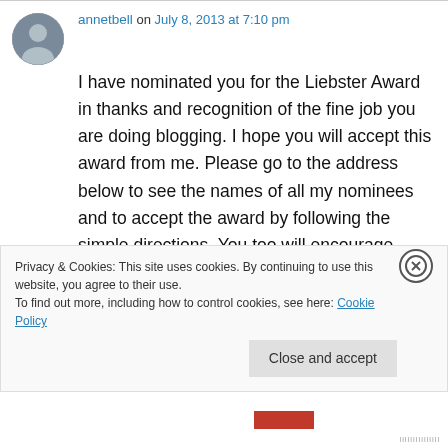annetbell on July 8, 2013 at 7:10 pm
I have nominated you for the Liebster Award in thanks and recognition of the fine job you are doing blogging. I hope you will accept this award from me. Please go to the address below to see the names of all my nominees and to accept the award by following the simple directions. You too will encourage fellow bloggers!

Namaste…..Anne
Privacy & Cookies: This site uses cookies. By continuing to use this website, you agree to their use.
To find out more, including how to control cookies, see here: Cookie Policy
Close and accept